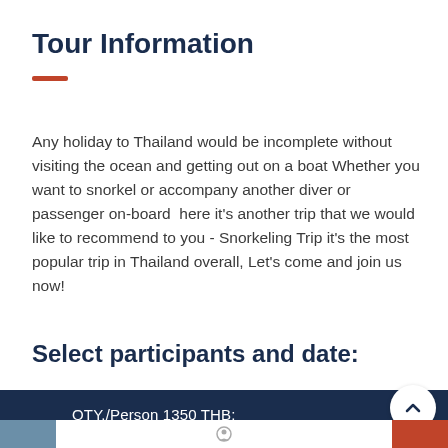Tour Information
Any holiday to Thailand would be incomplete without visiting the ocean and getting out on a boat Whether you want to snorkel or accompany another diver or passenger on-board  here it's another trip that we would like to recommend to you - Snorkeling Trip it's the most popular trip in Thailand overall, Let's come and join us now!
Select participants and date:
QTY./Person 1350 THB: